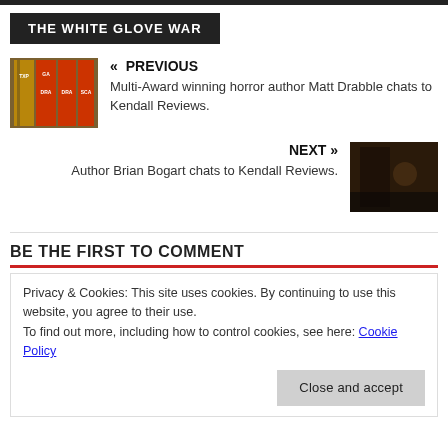THE WHITE GLOVE WAR
« PREVIOUS
Multi-Award winning horror author Matt Drabble chats to Kendall Reviews.
NEXT »
Author Brian Bogart chats to Kendall Reviews.
BE THE FIRST TO COMMENT
Privacy & Cookies: This site uses cookies. By continuing to use this website, you agree to their use.
To find out more, including how to control cookies, see here: Cookie Policy
Close and accept